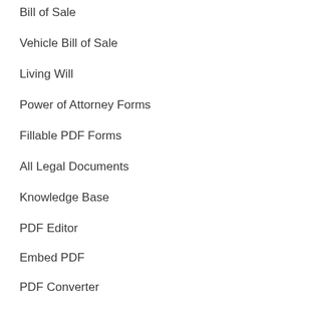Bill of Sale
Vehicle Bill of Sale
Living Will
Power of Attorney Forms
Fillable PDF Forms
All Legal Documents
Knowledge Base
PDF Editor
Embed PDF
PDF Converter
FORMSPAL CONTACTS
Keifer Corporation (FZC)
Address: SAIF Executive office P8-02-53, Sharjah, UAE PO Box 123613